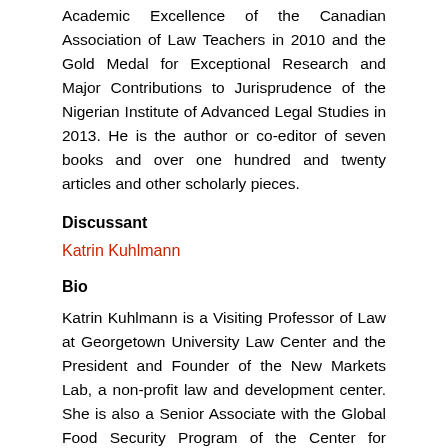Academic Excellence of the Canadian Association of Law Teachers in 2010 and the Gold Medal for Exceptional Research and Major Contributions to Jurisprudence of the Nigerian Institute of Advanced Legal Studies in 2013. He is the author or co-editor of seven books and over one hundred and twenty articles and other scholarly pieces.
Discussant
Katrin Kuhlmann
Bio
Katrin Kuhlmann is a Visiting Professor of Law at Georgetown University Law Center and the President and Founder of the New Markets Lab, a non-profit law and development center. She is also a Senior Associate with the Global Food Security Program of the Center for Strategic and